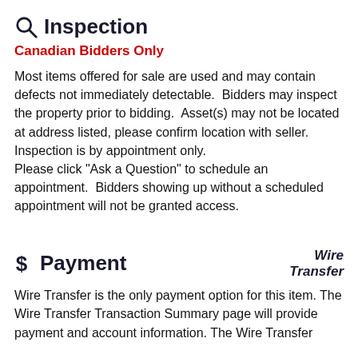Inspection
Canadian Bidders Only
Most items offered for sale are used and may contain defects not immediately detectable. Bidders may inspect the property prior to bidding. Asset(s) may not be located at address listed, please confirm location with seller. Inspection is by appointment only.
Please click "Ask a Question" to schedule an appointment. Bidders showing up without a scheduled appointment will not be granted access.
Payment
[Figure (logo): Wire Transfer logo in bold italic text]
Wire Transfer is the only payment option for this item. The Wire Transfer Transaction Summary page will provide payment and account information. The Wire Transfer